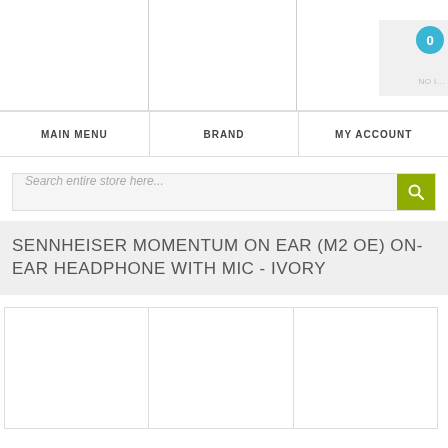MAIN MENU | BRAND | MY ACCOUNT
Search entire store here...
SENNHEISER MOMENTUM ON EAR (M2 OE) ON-EAR HEADPHONE WITH MIC - IVORY
[Figure (photo): Three thumbnail image placeholders for product images]